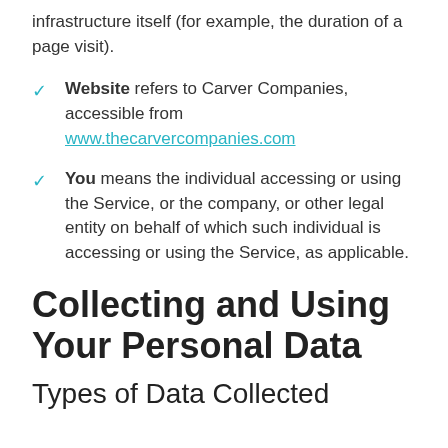infrastructure itself (for example, the duration of a page visit).
Website refers to Carver Companies, accessible from www.thecarvercompanies.com
You means the individual accessing or using the Service, or the company, or other legal entity on behalf of which such individual is accessing or using the Service, as applicable.
Collecting and Using Your Personal Data
Types of Data Collected